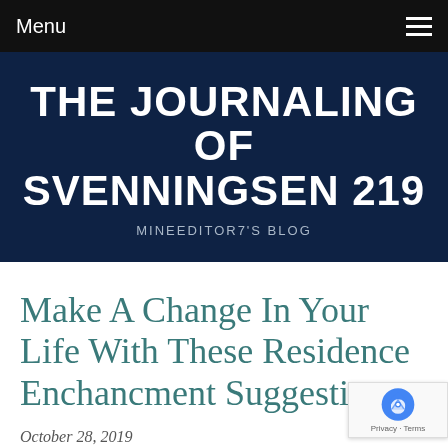Menu
THE JOURNALING OF SVENNINGSEN 219
MINEEDITOR7'S BLOG
Make A Change In Your Life With These Residence Enchancment Suggestions
October 28, 2019